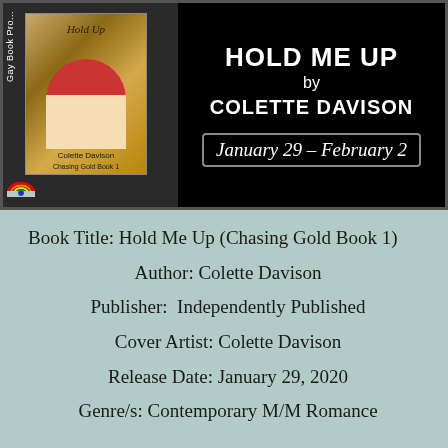[Figure (illustration): Book promotion banner with black background showing book cover for 'Hold Me Up (Chasing Gold Book 1)' by Colette Davison on the left, and title text 'HOLD ME UP by COLETTE DAVISON' and dates 'January 29 - February 2' on the right. Gay Book Promotions branding visible.]
Book Title: Hold Me Up (Chasing Gold Book 1)
Author: Colette Davison
Publisher:  Independently Published
Cover Artist: Colette Davison
Release Date: January 29, 2020
Genre/s: Contemporary M/M Romance